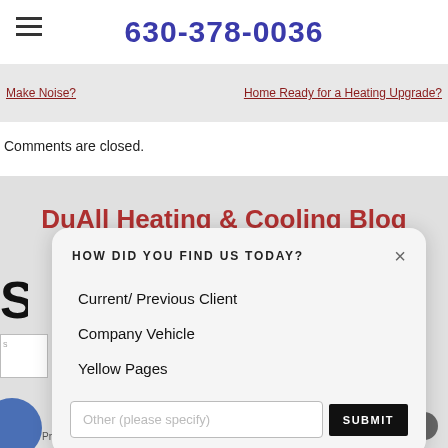630-378-0036
Make Noise?
Home Ready for a Heating Upgrade?
Comments are closed.
DuAll Heating & Cooling Blog
HOW DID YOU FIND US TODAY?
Current/ Previous Client
Company Vehicle
Yellow Pages
Other (please specify)
SUBMIT